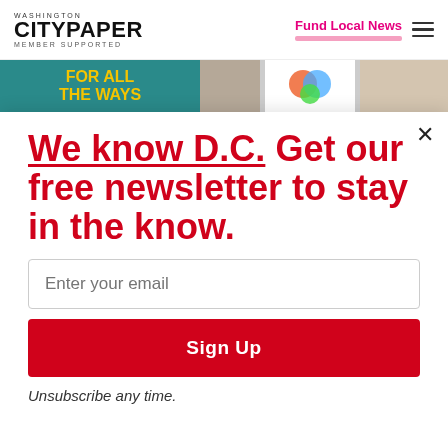Washington City Paper — Member Supported | Fund Local News
[Figure (screenshot): Website header with Washington City Paper logo, Fund Local News link in pink/magenta, and hamburger menu icon]
[Figure (photo): Banner strip with teal background showing 'FOR ALL THE WAYS' text in yellow, a photo strip, a colorful logo, and another photo strip]
We know D.C. Get our free newsletter to stay in the know.
Enter your email
Sign Up
Unsubscribe any time.